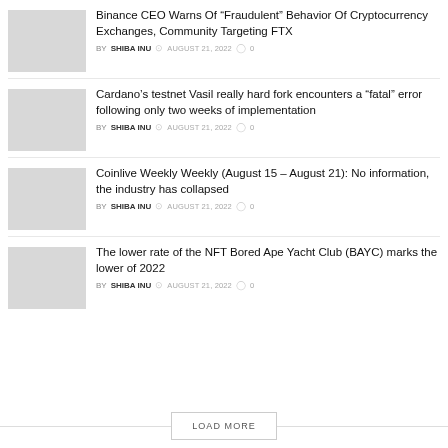Binance CEO Warns Of “Fraudulent” Behavior Of Cryptocurrency Exchanges, Community Targeting FTX | BY SHIBA INU | AUGUST 21, 2022 | 0
Cardano’s testnet Vasil really hard fork encounters a “fatal” error following only two weeks of implementation | BY SHIBA INU | AUGUST 21, 2022 | 0
Coinlive Weekly Weekly (August 15 – August 21): No information, the industry has collapsed | BY SHIBA INU | AUGUST 21, 2022 | 0
The lower rate of the NFT Bored Ape Yacht Club (BAYC) marks the lower of 2022 | BY SHIBA INU | AUGUST 21, 2022 | 0
LOAD MORE